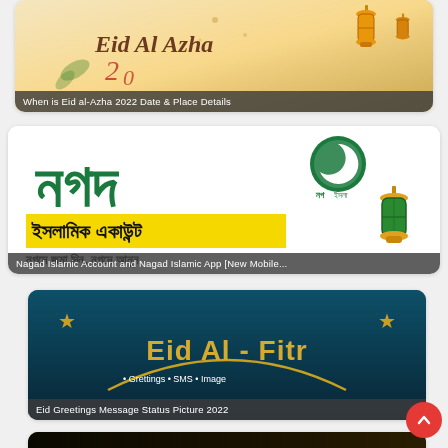[Figure (illustration): Eid Al Azha 2022 promotional banner with golden/beige background, lanterns, and cursive title text]
When is Eid al-Azha 2022 Date & Place Details
[Figure (illustration): Nagad Islamic Account promotional banner with large Bengali text 'নগদ' in green, yellow highlight bar with Bengali text 'ইসলামিক একাউন্ট', circular Nagad logo top right, and decorative lantern]
Nagad Islamic Account and Nagad Islamic App [New Mobile...
[Figure (illustration): Eid Al-Fitr greeting card with dark teal background, gold stars, golden crescent moon, and text 'Eid Al - Fitr' with bullet points: Greetings, SMS, Image]
Eid Greetings Message Status Picture 2022
[Figure (illustration): Dark crescent moon image with Bengali text for Sehri and Iftar]